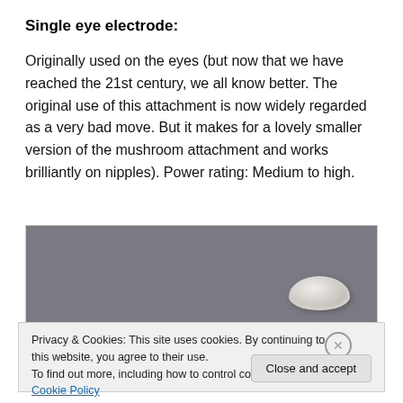Single eye electrode:
Originally used on the eyes (but now that we have reached the 21st century, we all know better. The original use of this attachment is now widely regarded as a very bad move. But it makes for a lovely smaller version of the mushroom attachment and works brilliantly on nipples). Power rating: Medium to high.
[Figure (photo): Photo of a small clear oval/egg-shaped electrode on a grey fabric background]
Privacy & Cookies: This site uses cookies. By continuing to use this website, you agree to their use.
To find out more, including how to control cookies, see here: Cookie Policy
Close and accept